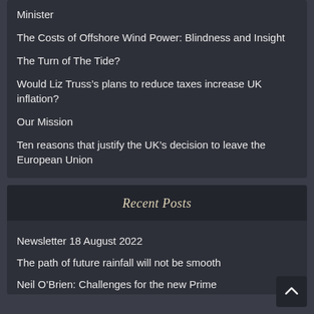Minister
The Costs of Offshore Wind Power: Blindness and Insight
The Turn of The Tide?
Would Liz Truss’s plans to reduce taxes increase UK inflation?
Our Mission
Ten reasons that justify the UK’s decision to leave the European Union
Recent Posts
Newsletter 18 August 2022
The path of future rainfall will not be smooth
Neil O’Brien: Challenges for the new Prime